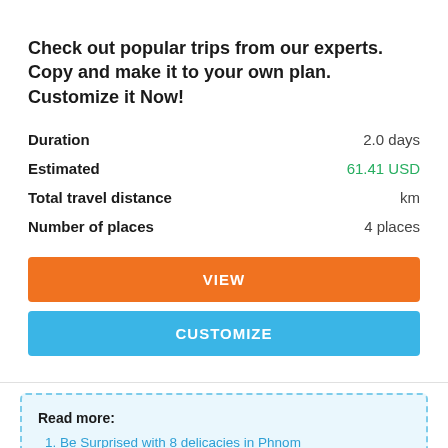Check out popular trips from our experts. Copy and make it to your own plan. Customize it Now!
|  |  |
| --- | --- |
| Duration | 2.0 days |
| Estimated | 61.41 USD |
| Total travel distance | km |
| Number of places | 4 places |
VIEW
CUSTOMIZE
Read more:
Be Surprised with 8 delicacies in Phnom...
Top 10 Things To Do That Won't Cost A Cent In Phnom Penh
↑ Scroll to top